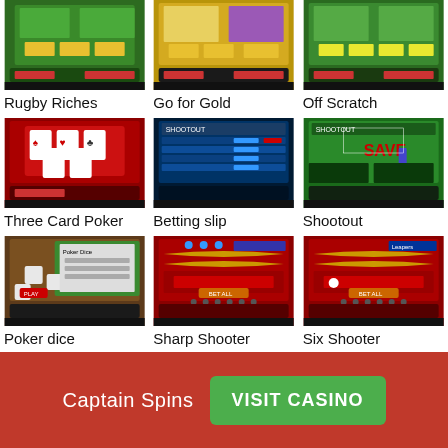[Figure (screenshot): Rugby Riches slot game screenshot]
Rugby Riches
[Figure (screenshot): Go for Gold slot game screenshot]
Go for Gold
[Figure (screenshot): Off Scratch slot game screenshot]
Off Scratch
[Figure (screenshot): Three Card Poker game screenshot]
Three Card Poker
[Figure (screenshot): Betting slip game screenshot]
Betting slip
[Figure (screenshot): Shootout game screenshot]
Shootout
[Figure (screenshot): Poker dice game screenshot]
Poker dice
[Figure (screenshot): Sharp Shooter game screenshot]
Sharp Shooter
[Figure (screenshot): Six Shooter game screenshot]
Six Shooter
[Figure (screenshot): Partial game screenshot row 4 col 1]
[Figure (screenshot): Partial game screenshot row 4 col 2]
[Figure (screenshot): Partial game screenshot row 4 col 3]
Captain Spins
VISIT CASINO